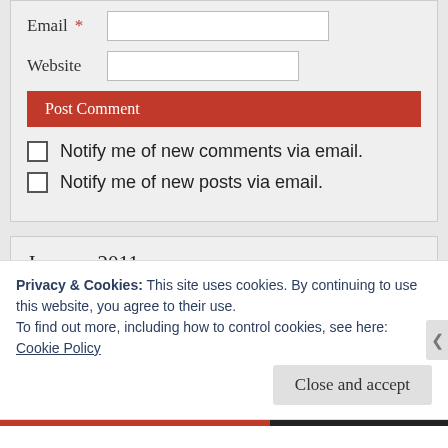Email * [input field]
Website [input field]
Post Comment
Notify me of new comments via email.
Notify me of new posts via email.
January 2011
| S | M | T | W | T | F | S |
| --- | --- | --- | --- | --- | --- | --- |
|  |
Privacy & Cookies: This site uses cookies. By continuing to use this website, you agree to their use.
To find out more, including how to control cookies, see here:
Cookie Policy
Close and accept